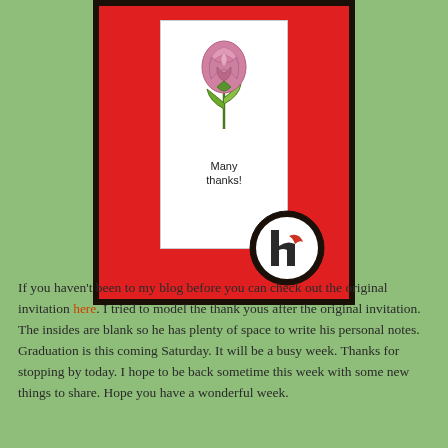[Figure (illustration): A handmade greeting card with a pink rose illustration and text 'Many thanks!' on a white panel, set against a red background with dark border. A circular logo badge (stylized 'h' letter in dark and red) is attached at the bottom right of the white panel.]
If you haven't been to my blog before you can check out the original invitation here. I tried to model the thank yous after the original invitation. The insides are blank so he has plenty of space to write his personal notes. Graduation is this coming Saturday. It will be a busy week. Thanks for stopping by today. I hope to be back sometime this week with some new things to share. Hope you have a wonderful week.